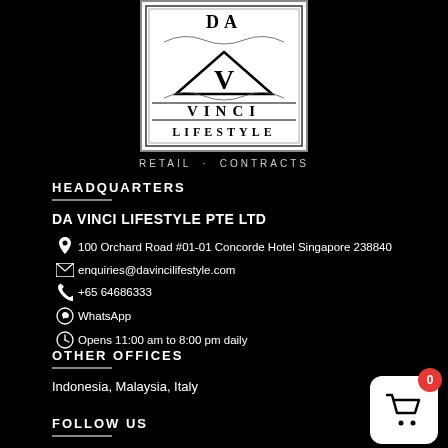[Figure (logo): Da Vinci Lifestyle logo — ornate rectangular badge with 'DA' at top, large V-triangle motif, 'VINCI' in the middle, 'LIFESTYLE' at bottom, white background with black border]
RETAIL · CONTRACTS
HEADQUARTERS
DA VINCI LIFESTYLE PTE LTD
100 Orchard Road #01-01 Concorde Hotel Singapore 238840
enquiries@davincilifestyle.com
+65 64686333
WhatsApp
Opens 11:00 am to 8:00 pm daily
OTHER OFFICES
Indonesia, Malaysia, Italy
FOLLOW US